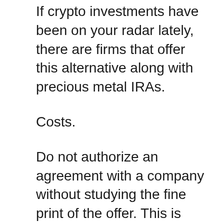If crypto investments have been on your radar lately, there are firms that offer this alternative along with precious metal IRAs.
Costs.
Do not authorize an agreement with a company without studying the fine print of the offer. This is specifically important to ensure that your investments are secured. Research the rules concerning fees, if any type of exist. The firm, for instance, may ask you to pay shipping, insurance policy or yearly charges. Also, there may be hidden fees that you ought to understand. Carry out your due persistance, or question their client assistance team regarding this matter, to gain a far better understanding right into